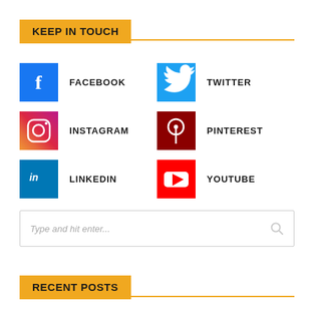KEEP IN TOUCH
[Figure (infographic): Social media links grid with icons: Facebook (blue), Twitter (light blue), Instagram (gradient purple-orange), Pinterest (dark red), LinkedIn (blue), YouTube (red)]
[Figure (other): Search input box with placeholder text 'Type and hit enter...' and a search icon on the right]
RECENT POSTS